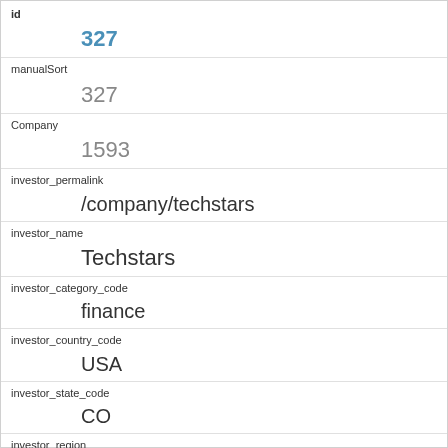id
327
manualSort
327
Company
1593
investor_permalink
/company/techstars
investor_name
Techstars
investor_category_code
finance
investor_country_code
USA
investor_state_code
CO
investor_region
Denver
investor_city
Boulder